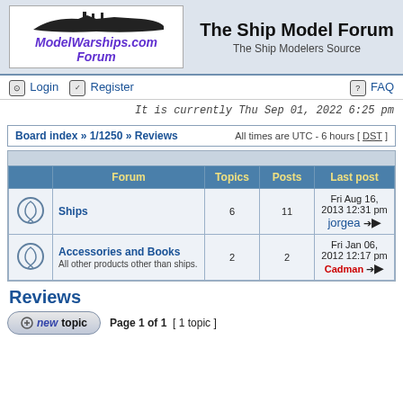[Figure (logo): ModelWarships.com Forum logo with silhouette warship and italic purple text]
The Ship Model Forum
The Ship Modelers Source
Login   Register   FAQ
It is currently Thu Sep 01, 2022 6:25 pm
Board index » 1/1250 » Reviews   All times are UTC - 6 hours [ DST ]
|  | Forum | Topics | Posts | Last post |
| --- | --- | --- | --- | --- |
| [icon] | Ships | 6 | 11 | Fri Aug 16, 2013 12:31 pm
jorgea → |
| [icon] | Accessories and Books
All other products other than ships. | 2 | 2 | Fri Jan 06, 2012 12:17 pm
Cadman → |
Reviews
Page 1 of 1  [ 1 topic ]